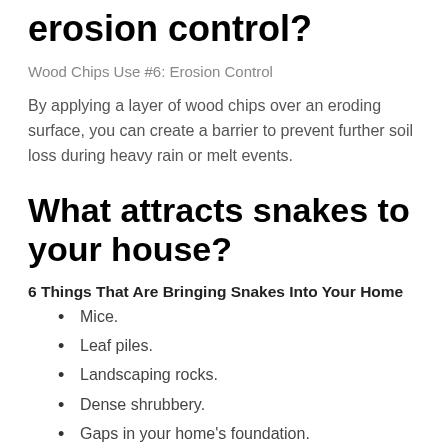erosion control?
Wood Chips Use #6: Erosion Control
By applying a layer of wood chips over an eroding surface, you can create a barrier to prevent further soil loss during heavy rain or melt events.
What attracts snakes to your house?
6 Things That Are Bringing Snakes Into Your Home
Mice.
Leaf piles.
Landscaping rocks.
Dense shrubbery.
Gaps in your home's foundation.